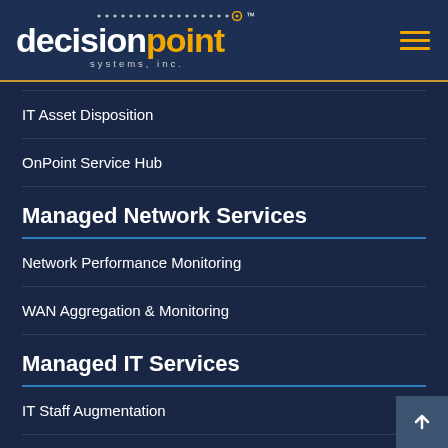decisionpoint systems, inc. [logo with hamburger menu]
IT Asset Disposition
OnPoint Service Hub
Managed Network Services
Network Performance Monitoring
WAN Aggregation & Monitoring
Managed IT Services
IT Staff Augmentation
IT Service Desk